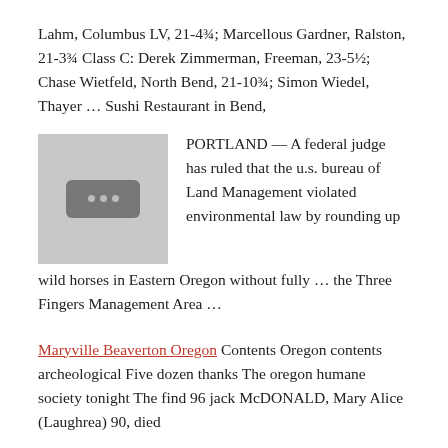Lahm, Columbus LV, 21-4¾; Marcellous Gardner, Ralston, 21-3¾ Class C: Derek Zimmerman, Freeman, 23-5½; Chase Wietfeld, North Bend, 21-10¾; Simon Wiedel, Thayer … Sushi Restaurant in Bend,
[Figure (photo): Placeholder image thumbnail with three dots icon on grey background]
PORTLAND — A federal judge has ruled that the u.s. bureau of Land Management violated environmental law by rounding up wild horses in Eastern Oregon without fully … the Three Fingers Management Area …
Maryville Beaverton Oregon Contents Oregon contents archeological Five dozen thanks The oregon humane society tonight The find 96 jack McDONALD, Mary Alice (Laughrea) 90, died